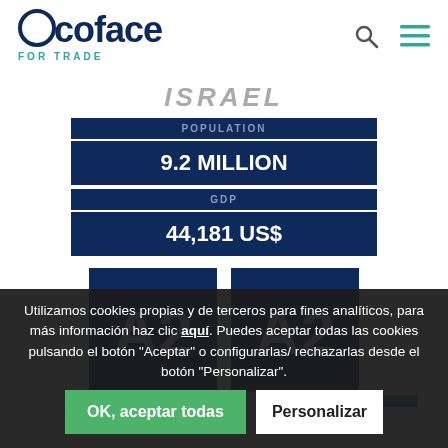[Figure (logo): Coface For Trade logo — dark blue wordmark with green subtitle]
ISRAEL
| POPULATION |  |
| 9.2 MILLION |  |
| GDP |  |
| 44,181 US$ |  |
[Figure (infographic): A2 Country Risk Assessment rating box — dark navy square with large white A2 and color bar at bottom]
COUNTRY RISK ASSESSMENT
[Figure (infographic): A2 Business Climate rating box — dark navy square with large white A2 and color bar at bottom]
BUSINESS CLIMATE
Utilizamos cookies propias y de terceros para fines analíticos, para más información haz clic aquí. Puedes aceptar todas las cookies pulsando el botón "Aceptar" o configurarlas/ rechazarlas desde el botón "Personalizar".
OK, aceptar todas | Personalizar